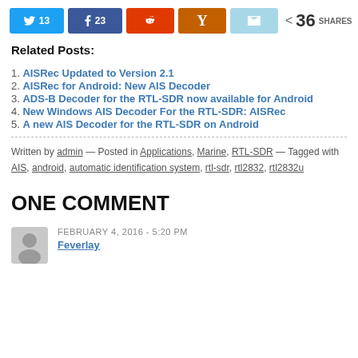[Figure (infographic): Social share buttons: Twitter (13), Facebook (23), Reddit, Hacker News (Y), Email, and share count 36 SHARES]
Related Posts:
1. AISRec Updated to Version 2.1
2. AISRec for Android: New AIS Decoder
3. ADS-B Decoder for the RTL-SDR now available for Android
4. New Windows AIS Decoder For the RTL-SDR: AISRec
5. A new AIS Decoder for the RTL-SDR on Android
Written by admin — Posted in Applications, Marine, RTL-SDR — Tagged with AIS, android, automatic identification system, rtl-sdr, rtl2832, rtl2832u
ONE COMMENT
FEBRUARY 4, 2016 - 5:20 PM
Feverlay